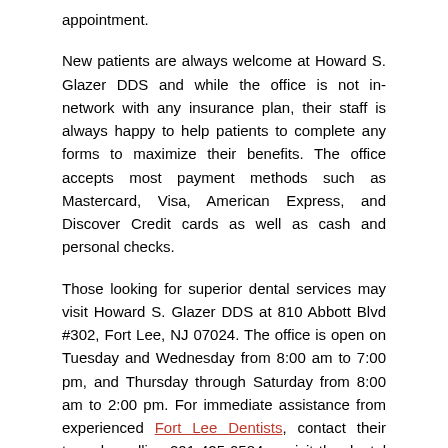appointment.
New patients are always welcome at Howard S. Glazer DDS and while the office is not in-network with any insurance plan, their staff is always happy to help patients to complete any forms to maximize their benefits. The office accepts most payment methods such as Mastercard, Visa, American Express, and Discover Credit cards as well as cash and personal checks.
Those looking for superior dental services may visit Howard S. Glazer DDS at 810 Abbott Blvd #302, Fort Lee, NJ 07024. The office is open on Tuesday and Wednesday from 8:00 am to 7:00 pm, and Thursday through Saturday from 8:00 am to 2:00 pm. For immediate assistance from experienced Fort Lee Dentists, contact their team by calling 201-425-0584 or visit the dental office's website for additional information regarding their services.